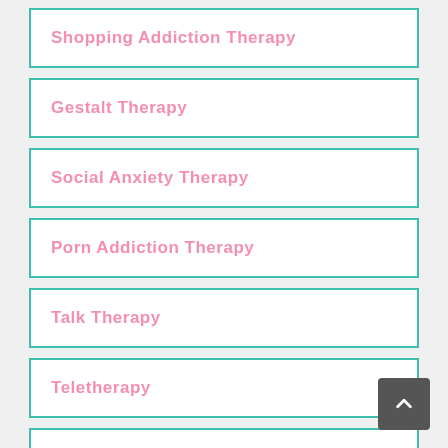Shopping Addiction Therapy
Gestalt Therapy
Social Anxiety Therapy
Porn Addiction Therapy
Talk Therapy
Teletherapy
Phone Therapy